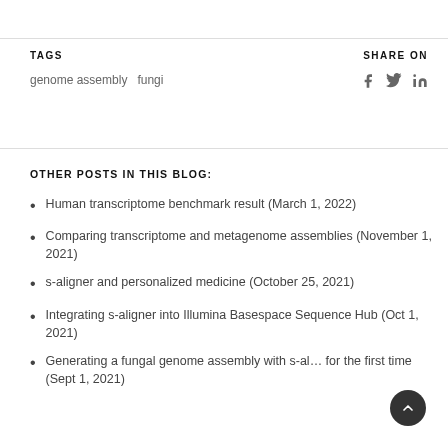TAGS
genome assembly   fungi
SHARE ON
OTHER POSTS IN THIS BLOG:
Human transcriptome benchmark result (March 1, 2022)
Comparing transcriptome and metagenome assemblies (November 1, 2021)
s-aligner and personalized medicine (October 25, 2021)
Integrating s-aligner into Illumina Basespace Sequence Hub (Oct 1, 2021)
Generating a fungal genome assembly with s-aligner for the first time (Sept 1, 2021)